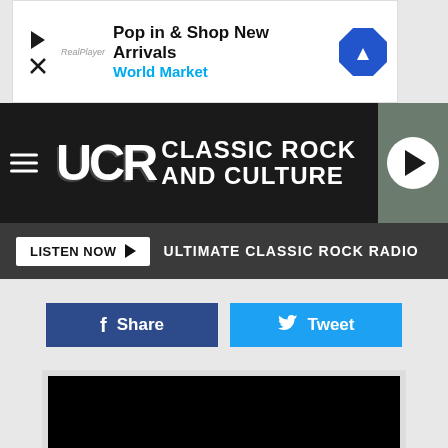[Figure (screenshot): Advertisement bar: 'Pop in & Shop New Arrivals / World Market' with play icon, X close, logo, and diamond navigation icon]
UCR CLASSIC ROCK AND CULTURE
LISTEN NOW ▶  ULTIMATE CLASSIC ROCK RADIO
f Share    Tweet
[Figure (screenshot): Black video player area with loading progress bar]